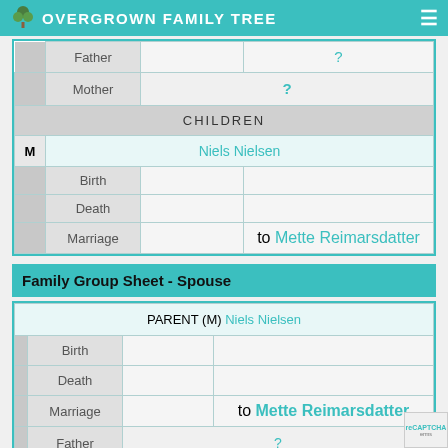OVERGROWN FAMILY TREE
| Father | ? |
| Mother | ? |
| CHILDREN |  |
| M | Niels Nielsen |
| Birth |  |  |
| Death |  |  |
| Marriage |  | to Mette Reimarsdatter |
Family Group Sheet - Spouse
| PARENT (M) | Niels Nielsen |
| Birth |  |  |
| Death |  |  |
| Marriage |  | to Mette Reimarsdatter |
| Father | ? |